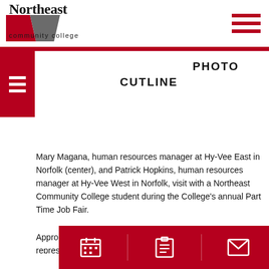[Figure (logo): Northeast Community College logo with stylized text and red/gray graphic element]
PHOTO
CUTLINE
Mary Magana, human resources manager at Hy-Vee East in Norfolk (center), and Patrick Hopkins, human resources manager at Hy-Vee West in Norfolk, visit with a Northeast Community College student during the College's annual Part Time Job Fair.
Appro... repres... ear's